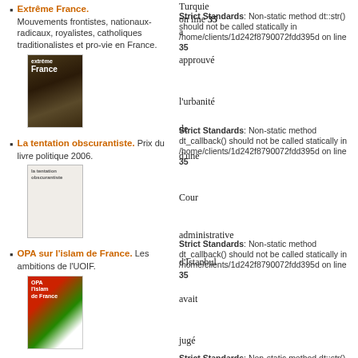Extrême France. Mouvements frontistes, nationaux-radicaux, royalistes, catholiques traditionalistes et pro-vie en France.
[Figure (photo): Book cover of Extrême France with dark horse/man image]
La tentation obscurantiste. Prix du livre politique 2006.
[Figure (photo): Book cover of La tentation obscurantiste, light-colored]
OPA sur l'islam de France. Les ambitions de l'UOIF.
[Figure (photo): Book cover of OPA sur l'islam de France with red and green colors]
L'effroyable imposteur.
Strict Standards: Non-static method dt::str() should not be called statically in /home/clients/1d242f8790072fdd395d on line 35
Strict Standards: Non-static method dt_callback() should not be called statically in /home/clients/1d242f8790072fdd395d on line 35
Strict Standards: Non-static method dt_callback() should not be called statically in /home/clients/1d242f8790072fdd395d on line 35
Strict Standards: Non-static method dt::str() should not be called statically in /home/clients/1d242f8790072fdd395d on line 76
Strict Standards: Non-static method